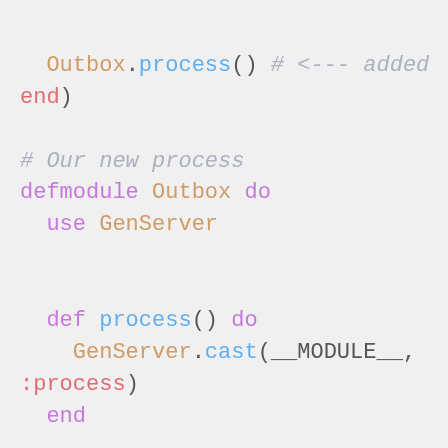Outbox.process() # <--- added
end)

# Our new process
defmodule Outbox do
  use GenServer


  def process() do
    GenServer.cast(__MODULE__,
:process)
  end


  def handle_cast(:process